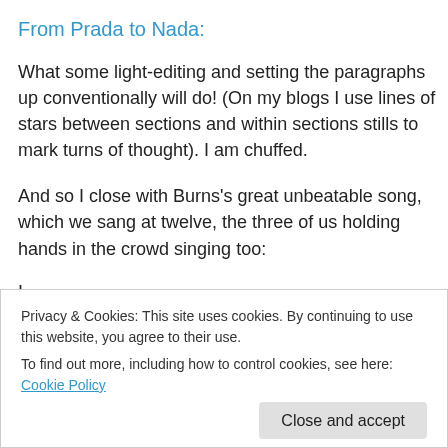From Prada to Nada:
What some light-editing and setting the paragraphs up conventionally will do! (On my blogs I use lines of stars between sections and within sections stills to mark turns of thought). I am chuffed.
And so I close with Burns's great unbeatable song, which we sang at twelve, the three of us holding hands in the crowd singing too:
I
Privacy & Cookies: This site uses cookies. By continuing to use this website, you agree to their use.
To find out more, including how to control cookies, see here: Cookie Policy
Close and accept